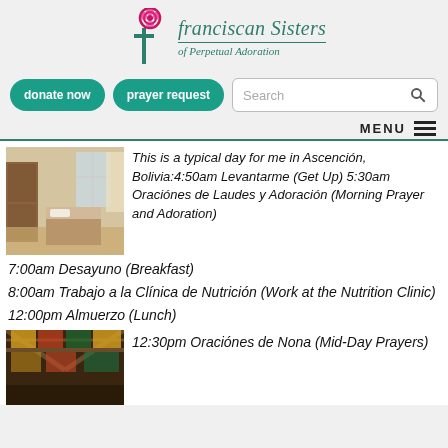[Figure (logo): Franciscan Sisters of Perpetual Adoration logo with rose and cross]
[Figure (other): donate now and prayer request buttons and search bar]
MENU
This is a typical day for me in Ascención, Bolivia:4:50am Levantarme (Get Up) 5:30am Oraciónes de Laudes y Adoración (Morning Prayer and Adoration)
[Figure (photo): Room interior with bed and wooden furniture]
7:00am Desayuno (Breakfast)
8:00am Trabajo a la Clínica de Nutrición (Work at the Nutrition Clinic)
12:00pm Almuerzo (Lunch)
12:30pm Oraciónes de Nona (Mid-Day Prayers)
[Figure (photo): Chapel interior with stained glass ceiling]